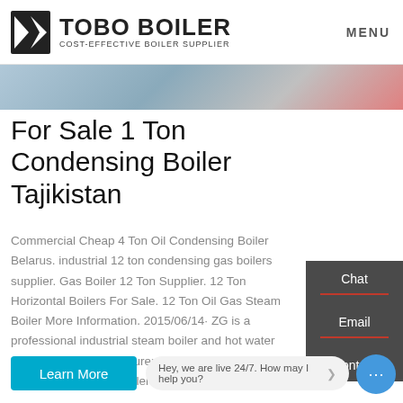TOBO BOILER — COST-EFFECTIVE BOILER SUPPLIER | MENU
[Figure (photo): Hero banner image strip showing industrial/engineering background]
For Sale 1 Ton Condensing Boiler Tajikistan
Commercial Cheap 4 Ton Oil Condensing Boiler Belarus. industrial 12 ton condensing gas boilers supplier. Gas Boiler 12 Ton Supplier. 12 Ton Horizontal Boilers For Sale. 12 Ton Oil Gas Steam Boiler More Information. 2015/06/14· ZG is a professional industrial steam boiler and hot water boiler factory manufacturer in chinasupply 1 ton -20 ton oil and gas fired boilerthe 1 ton2 ton: 5
Chat
Email
Contact
Learn More
Hey, we are live 24/7. How may I help you?